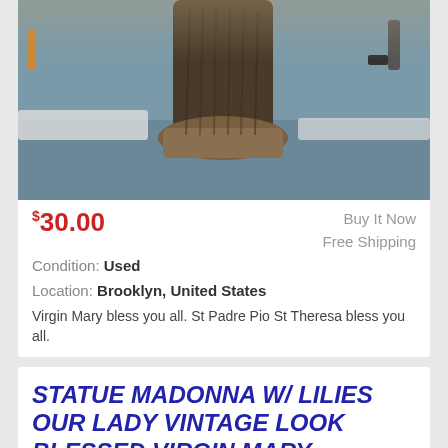[Figure (photo): Close-up photo of the base/bottom of a dark brown religious figurine on a blue-gray surface with workshop background]
$30.00
Buy It Now
Free Shipping
Condition: Used
Location: Brooklyn, United States
Virgin Mary bless you all. St Padre Pio St Theresa bless you all.
STATUE MADONNA W/ LILIES OUR LADY VINTAGE LOOK BLESSED VIRGIN MARY FIGURINE GIFT
[Figure (photo): Partial photo of a Madonna figurine at the bottom of the page, with a red NEW badge in the corner]